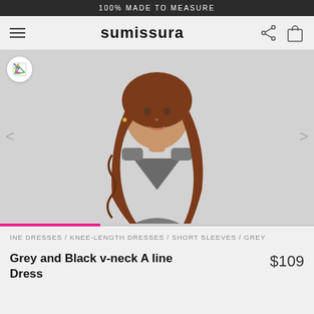100% MADE TO MEASURE
[Figure (logo): Sumissura brand logo with hamburger menu, share icon, and shopping bag icon in navigation bar]
[Figure (photo): Model wearing a grey v-neck A-line dress with short sleeves, shown from upper torso up with long auburn hair]
INE DRESSES / KNEE-LENGTH DRESSES / SHORT SLEEVES / GREY
Grey and Black v-neck A line Dress
$109